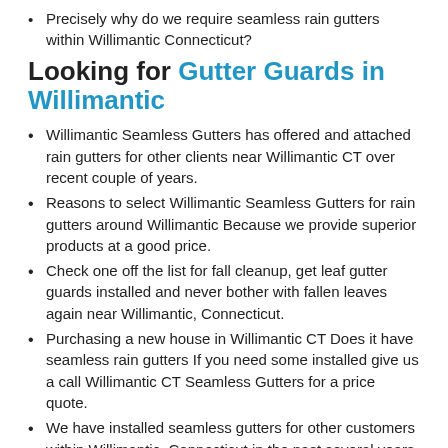Precisely why do we require seamless rain gutters within Willimantic Connecticut?
Looking for Gutter Guards in Willimantic
Willimantic Seamless Gutters has offered and attached rain gutters for other clients near Willimantic CT over recent couple of years.
Reasons to select Willimantic Seamless Gutters for rain gutters around Willimantic Because we provide superior products at a good price.
Check one off the list for fall cleanup, get leaf gutter guards installed and never bother with fallen leaves again near Willimantic, Connecticut.
Purchasing a new house in Willimantic CT Does it have seamless rain gutters If you need some installed give us a call Willimantic CT Seamless Gutters for a price quote.
We have installed seamless gutters for other customers within Willimantic, Connecticut in the past several years.
Do you need new gutters in the following zip codes: 06226.
For more information on Gutters Click Below